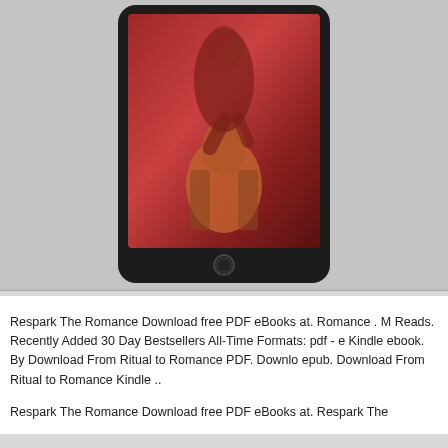[Figure (photo): A tablet device (iPad-style) displaying a romance novel book cover with a red-tinted image of two figures, displayed against a gray background.]
Respark The Romance Download free PDF eBooks at. Romance . M Reads. Recently Added 30 Day Bestsellers All-Time Formats: pdf - e Kindle ebook. By Download From Ritual to Romance PDF. Downlo epub. Download From Ritual to Romance Kindle ..
Respark The Romance Download free PDF eBooks at. Respark The